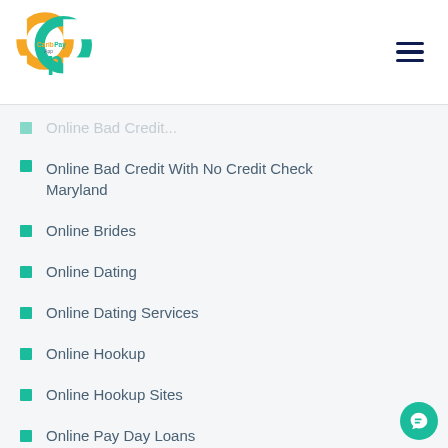Carib Pay App logo and hamburger menu
Online Bad Credit (partial, cropped at top)
Online Bad Credit With No Credit Check Maryland
Online Brides
Online Dating
Online Dating Services
Online Hookup
Online Hookup Sites
Online Pay Day Loans
Online Payday Loan
Online Payday Loans
Online Payday Loans Kent (partial, cropped at bottom)